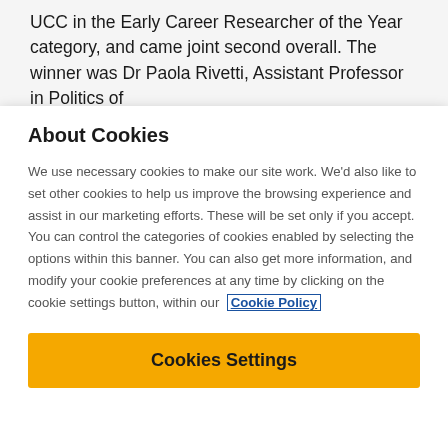UCC in the Early Career Researcher of the Year category, and came joint second overall. The winner was Dr Paola Rivetti, Assistant Professor in Politics of
About Cookies
We use necessary cookies to make our site work. We'd also like to set other cookies to help us improve the browsing experience and assist in our marketing efforts. These will be set only if you accept. You can control the categories of cookies enabled by selecting the options within this banner. You can also get more information, and modify your cookie preferences at any time by clicking on the cookie settings button, within our Cookie Policy
Cookies Settings